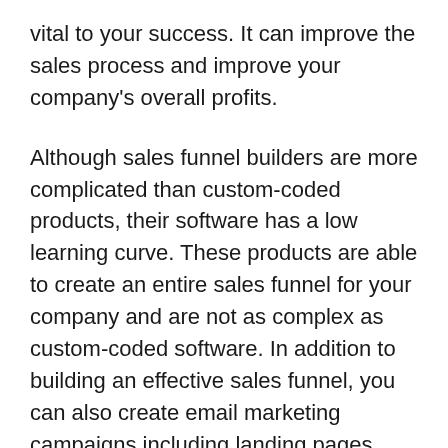vital to your success. It can improve the sales process and improve your company's overall profits.
Although sales funnel builders are more complicated than custom-coded products, their software has a low learning curve. These products are able to create an entire sales funnel for your company and are not as complex as custom-coded software. In addition to building an effective sales funnel, you can also create email marketing campaigns including landing pages, email marketing campaigns, and marketing automation. This lets you manage large amounts of leads more efficiently, which can ultimately increase sales.